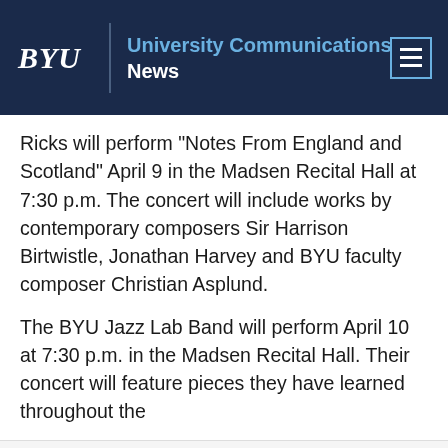BYU | University Communications News
Ricks will perform "Notes From England and Scotland" April 9 in the Madsen Recital Hall at 7:30 p.m. The concert will include works by contemporary composers Sir Harrison Birtwistle, Jonathan Harvey and BYU faculty composer Christian Asplund.
The BYU Jazz Lab Band will perform April 10 at 7:30 p.m. in the Madsen Recital Hall. Their concert will feature pieces they have learned throughout the
By clicking “Accept All Cookies,” you agree to the storing of cookies on your device for a variety of purposes in order to improve your online experience, including to enhance site navigation, analyze site usage, and assist in our efforts to remember important information that will make your future use of our sites more convenient.